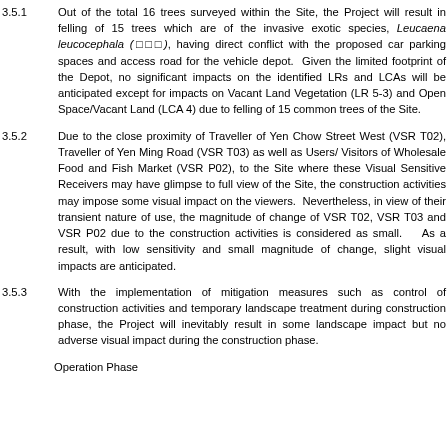3.5.1   Out of the total 16 trees surveyed within the Site, the Project will result in felling of 15 trees which are of the invasive exotic species, Leucaena leucocephala (銀合歡), having direct conflict with the proposed car parking spaces and access road for the vehicle depot.  Given the limited footprint of the Depot, no significant impacts on the identified LRs and LCAs will be anticipated except for impacts on Vacant Land Vegetation (LR 5-3) and Open Space/Vacant Land (LCA 4) due to felling of 15 common trees of the Site.
3.5.2   Due to the close proximity of Traveller of Yen Chow Street West (VSR T02), Traveller of Yen Ming Road (VSR T03) as well as Users/ Visitors of Wholesale Food and Fish Market (VSR P02), to the Site where these Visual Sensitive Receivers may have glimpse to full view of the Site, the construction activities may impose some visual impact on the viewers.  Nevertheless, in view of their transient nature of use, the magnitude of change of VSR T02, VSR T03 and VSR P02 due to the construction activities is considered as small.    As a result, with low sensitivity and small magnitude of change, slight visual impacts are anticipated.
3.5.3   With the implementation of mitigation measures such as control of construction activities and temporary landscape treatment during construction phase, the Project will inevitably result in some landscape impact but no adverse visual impact during the construction phase.
Operation Phase